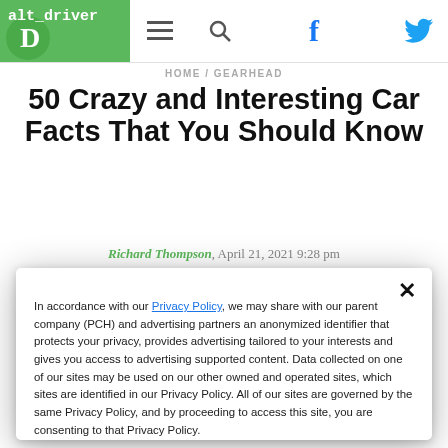alt_driver — navigation bar with hamburger menu, search, Facebook, Twitter icons
HOME / GEARHEAD
50 Crazy and Interesting Car Facts That You Should Know
Richard Thompson, April 21, 2021 9:28 pm
In accordance with our Privacy Policy, we may share with our parent company (PCH) and advertising partners an anonymized identifier that protects your privacy, provides advertising tailored to your interests and gives you access to advertising supported content. Data collected on one of our sites may be used on our other owned and operated sites, which sites are identified in our Privacy Policy. All of our sites are governed by the same Privacy Policy, and by proceeding to access this site, you are consenting to that Privacy Policy.